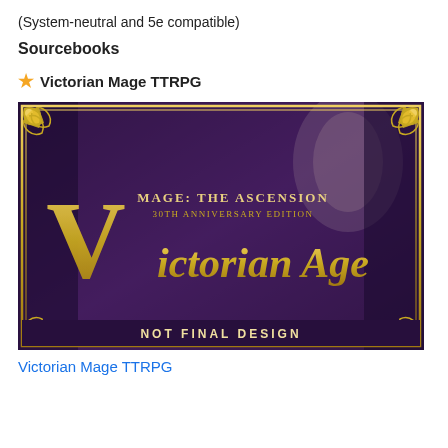(System-neutral and 5e compatible)
Sourcebooks
★ Victorian Mage TTRPG
[Figure (illustration): Book cover for Victorian Age Mage: The Ascension 30th Anniversary Edition. Dark purple gothic background with ornate gold decorative corners, large stylized gold lettering reading 'Victorian Age', subtitle 'MAGE: THE ASCENSION 30TH ANNIVERSARY EDITION'. Bottom banner reads 'NOT FINAL DESIGN'.]
Victorian Mage TTRPG